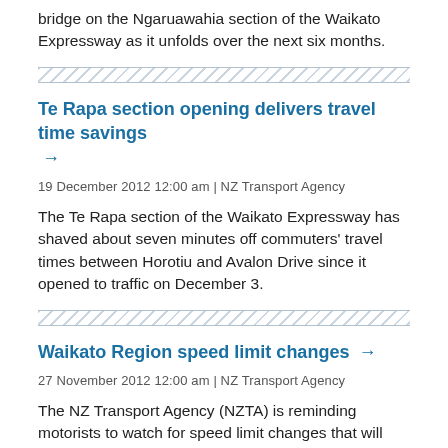bridge on the Ngaruawahia section of the Waikato Expressway as it unfolds over the next six months.
Te Rapa section opening delivers travel time savings →
19 December 2012 12:00 am | NZ Transport Agency
The Te Rapa section of the Waikato Expressway has shaved about seven minutes off commuters' travel times between Horotiu and Avalon Drive since it opened to traffic on December 3.
Waikato Region speed limit changes →
27 November 2012 12:00 am | NZ Transport Agency
The NZ Transport Agency (NZTA) is reminding motorists to watch for speed limit changes that will take effect from late